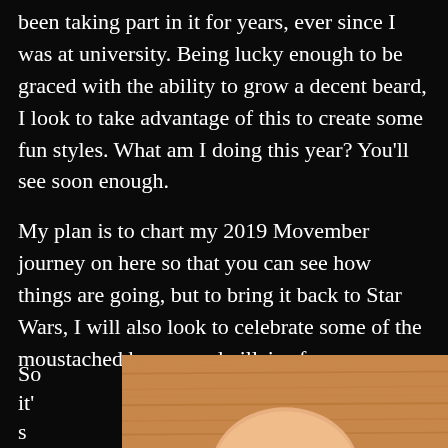been taking part in it for years, ever since I was at university. Being lucky enough to be graced with the ability to grow a decent beard, I look to take advantage of this to create some fun styles. What am I doing this year? You'll see soon enough.
My plan is to chart my 2019 Movember journey on here so that you can see how things are going, but to bring it back to Star Wars, I will also look to celebrate some of the moustached heroes and villains from canon.
So it's be
[Figure (photo): Close-up photo of a person's chin/lower face area against a wooden background, showing the beginning of facial hair growth.]